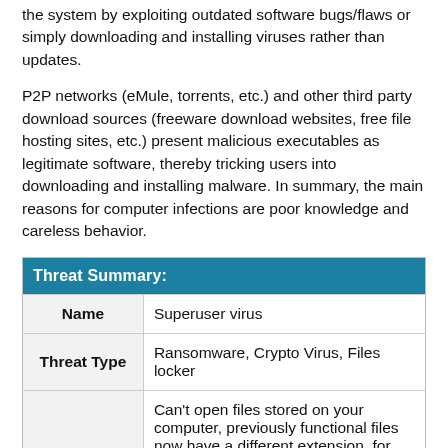the system by exploiting outdated software bugs/flaws or simply downloading and installing viruses rather than updates.
P2P networks (eMule, torrents, etc.) and other third party download sources (freeware download websites, free file hosting sites, etc.) present malicious executables as legitimate software, thereby tricking users into downloading and installing malware. In summary, the main reasons for computer infections are poor knowledge and careless behavior.
| Threat Summary: |
| --- |
| Name | Superuser virus |
| Threat Type | Ransomware, Crypto Virus, Files locker |
|  | Can't open files stored on your computer, previously functional files now have a different extension, for example |